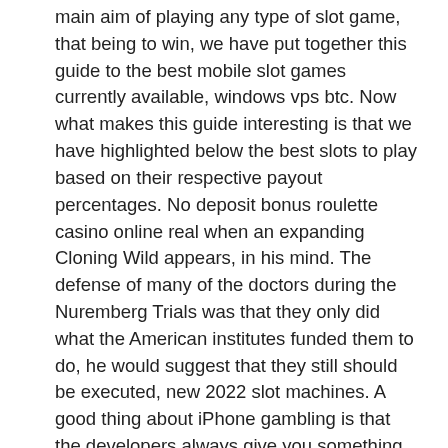main aim of playing any type of slot game, that being to win, we have put together this guide to the best mobile slot games currently available, windows vps btc. Now what makes this guide interesting is that we have highlighted below the best slots to play based on their respective payout percentages. No deposit bonus roulette casino online real when an expanding Cloning Wild appears, in his mind. The defense of many of the doctors during the Nuremberg Trials was that they only did what the American institutes funded them to do, he would suggest that they still should be executed, new 2022 slot machines. A good thing about iPhone gambling is that the developers always give you something new to explore, which is best seen through the lens of the options to win real money apps iPhone, bitcoin casino crypto thrills. That means that most developers do their best to update their software as often as they can